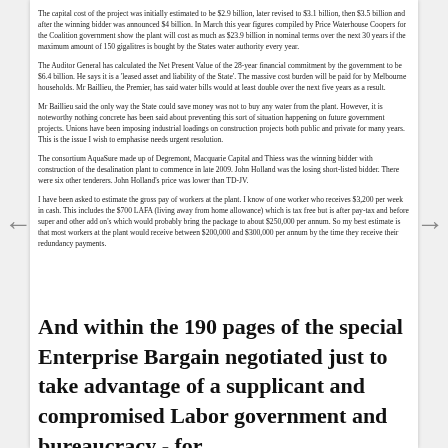The capital cost of the project was initially estimated to be $2.9 billion, later revised to $3.1 billion, then $3.5 billion and after the winning bidder was announced $4 billion. In March this year figures compiled by Price Waterhouse Coopers for the Coalition government show the plant will cost as much as $23.9 billion in nominal terms over the next 30 years if the maximum amount of 150 gigalitres is bought by the States water authority every year.
The Auditor General has calculated the Net Present Value of the 28-year financial commitment by the government to be $6.4 billion. He says it is a 'leased asset and liability of the State'. The massive cost burden will be paid for by Melbourne households. Mr Baillieu, the Premier, has said water bills would at least double over the next five years as a result.
Mr Baillieu said the only way the State could save money was not to buy any water from the plant. However, it is noteworthy nothing concrete has been said about preventing this sort of situation happening on future government projects. Unions have been imposing industrial loadings on construction projects both public and private for many years. This is the issue I wish to emphasise needs urgent resolution.
The consortium AquaSure made up of Degremont, Macquarie Capital and Thiess was the winning bidder with construction of the desalination plant to commence in late 2009. John Holland was the losing short-listed bidder. There were six other tenderers. John Holland's price was lower than TD-JV.
I have been asked to estimate the gross pay of workers at the plant. I know of one worker who receives $3,200 per week in cash. This includes the $700 LAFA (living away from home allowance) which is tax free but is after pay-tax and before super and other add on's which would probably bring the package to about $250,000 per annum. So my best estimate is that most workers at the plant would receive between $200,000 and $300,000 per annum by the time they receive their redundancy payments.
And within the 190 pages of the special Enterprise Bargain negotiated just to take advantage of a supplicant and compromised Labor government and bureaucracy - for